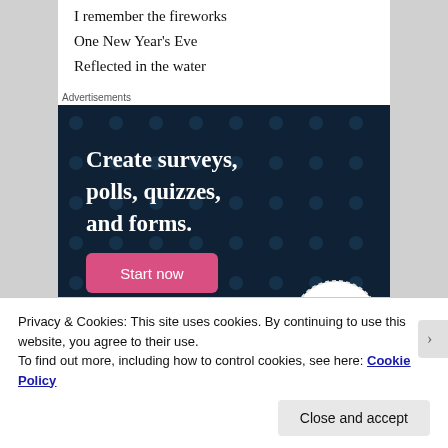I remember the fireworks
One New Year's Eve
Reflected in the water
[Figure (illustration): Advertisement banner with dark navy background showing text 'Create surveys, polls, quizzes, and forms.' with a pink 'Start now' button and a CrowdSignal logo circle in the bottom right.]
Privacy & Cookies: This site uses cookies. By continuing to use this website, you agree to their use.
To find out more, including how to control cookies, see here: Cookie Policy